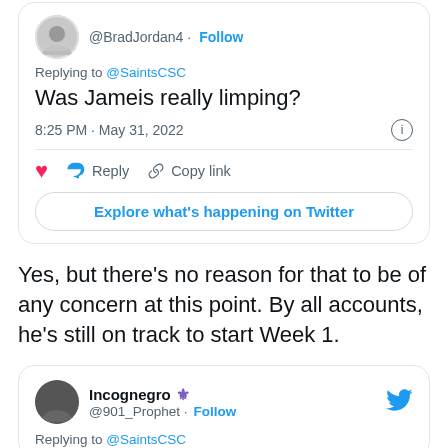[Figure (screenshot): Tweet card from @BradJordan4 replying to @SaintsCSC asking 'Was Jameis really limping?' posted at 8:25 PM May 31, 2022, with like, reply, copy link actions and Explore what's happening on Twitter button]
Yes, but there’s no reason for that to be of any concern at this point. By all accounts, he’s still on track to start Week 1.
[Figure (screenshot): Tweet card from Incognegro @901_Prophet with Follow button and Twitter bird icon, Replying to @SaintsCSC]